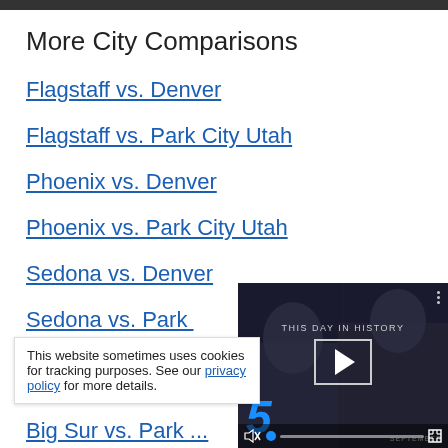More City Comparisons
Flagstaff vs. Denver
Flagstaff vs. Park City Utah
Phoenix vs. Denver
Phoenix vs. Park City Utah
Sedona vs. Denver
Sedona vs. Park ...
This website sometimes uses cookies for tracking purposes. See our privacy policy for more details.
[Figure (screenshot): Video player overlay showing 'THIS DAY IN HISTORY' with a play button, the number 5, and the word SEPTEMBER. Controls include mute, progress bar, and fullscreen button.]
Big Sur vs. Park ...